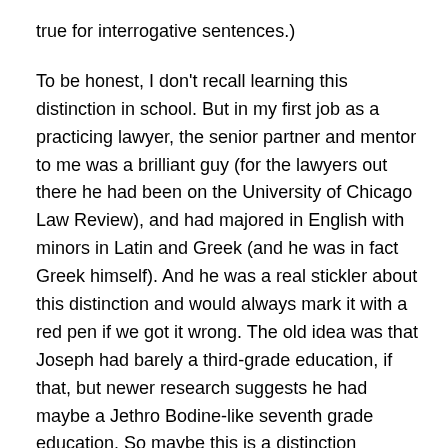true for interrogative sentences.)
To be honest, I don't recall learning this distinction in school. But in my first job as a practicing lawyer, the senior partner and mentor to me was a brilliant guy (for the lawyers out there he had been on the University of Chicago Law Review), and had majored in English with minors in Latin and Greek (and he was in fact Greek himself). And he was a real stickler about this distinction and would always mark it with a red pen if we got it wrong. The old idea was that Joseph had barely a third-grade education, if that, but newer research suggests he had maybe a Jethro Bodine-like seventh grade education. So maybe this is a distinction Joseph had learned in school and applied that knowledge to the translation project. That of course is total speculation, but in any event, even